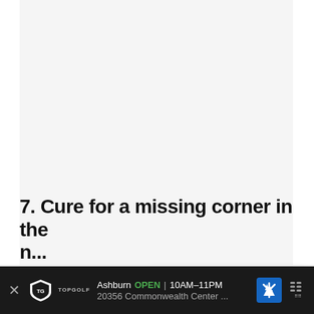[Figure (photo): Large mostly white/blank image area occupying the upper portion of the page]
[Figure (screenshot): UI element: blue circular heart/like button with count of 6 below it, and a white circular share button]
[Figure (screenshot): What's Next widget showing a pie-chart style icon (green/yellow) and text 'WHAT'S NEXT → [21 Lucky Symbols]:...']
7. Cure for a missing corner in the n...
[Figure (screenshot): Advertisement banner: Topgolf logo, 'Ashburn OPEN 10AM–11PM', '20356 Commonwealth Center ...', navigation arrow icon, and menu icon]